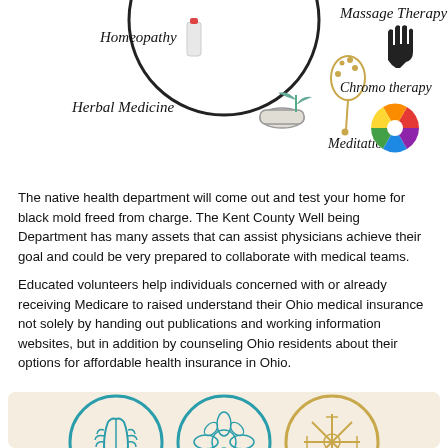[Figure (infographic): Top infographic showing alternative medicine icons: Homeopathy (bottle), Herbal Medicine (mortar and pestle/plant), Meditation (prayer beads), Massage Therapy (hand silhouette), Chromo therapy (color wheel)]
The native health department will come out and test your home for black mold freed from charge. The Kent County Well being Department has many assets that can assist physicians achieve their goal and could be very prepared to collaborate with medical teams.
Educated volunteers help individuals concerned with or already receiving Medicare to raised understand their Ohio medical insurance not solely by handing out publications and working information websites, but in addition by counseling Ohio residents about their options for affordable health insurance in Ohio.
[Figure (infographic): Bottom infographic on beige/tan background showing three circular icons in teal/blue and gold outlines: praying hands, mandala/lotus flower, and a snowflake/cross pattern. Two more partial circles visible at the bottom edge.]